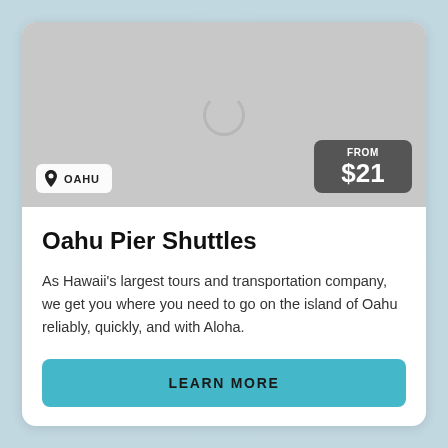[Figure (screenshot): Gray placeholder image area with a loading spinner circle in the center, representing an unloaded photo]
OAHU
FROM $21
Oahu Pier Shuttles
As Hawaii’s largest tours and transportation company, we get you where you need to go on the island of Oahu reliably, quickly, and with Aloha.
LEARN MORE